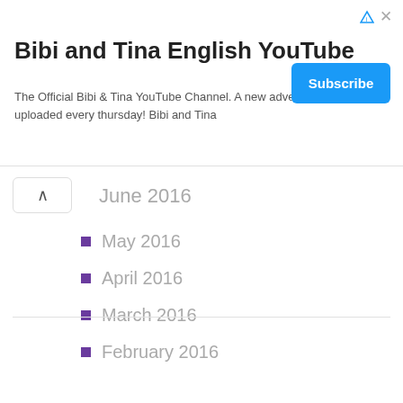[Figure (screenshot): Advertisement banner for Bibi and Tina English YouTube channel with Subscribe button]
Bibi and Tina English YouTube
The Official Bibi & Tina YouTube Channel. A new adventure will be uploaded every thursday! Bibi and Tina
June 2016
May 2016
April 2016
March 2016
February 2016